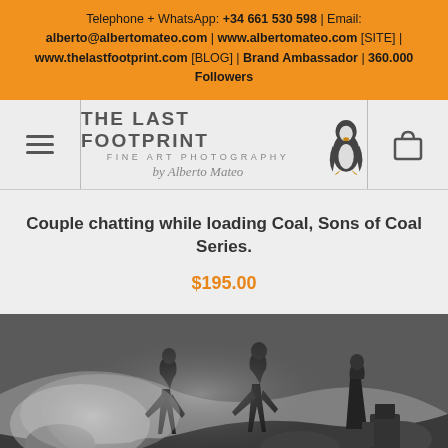Telephone + WhatsApp: +34 661 530 598 | Email: alberto@albertomateo.com | www.albertomateo.com [SITE] | www.thelastfootprint.com [BLOG] | Brand Ambassador | 360.000 Followers
[Figure (logo): The Last Footprint Fine Art Photography by Alberto Mateo logo with penguin silhouette, hamburger menu icon on left, shopping bag icon on right]
Couple chatting while loading Coal, Sons of Coal Series.
$195.00
[Figure (photo): Black and white photograph of people loading coal, dusty/smoky scene with workers and rocky background]